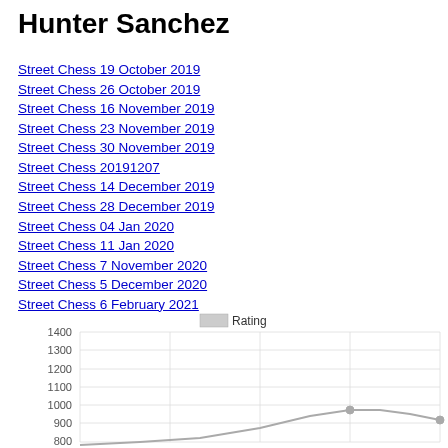Hunter Sanchez
Street Chess 19 October 2019
Street Chess 26 October 2019
Street Chess 16 November 2019
Street Chess 23 November 2019
Street Chess 30 November 2019
Street Chess 20191207
Street Chess 14 December 2019
Street Chess 28 December 2019
Street Chess 04 Jan 2020
Street Chess 11 Jan 2020
Street Chess 7 November 2020
Street Chess 5 December 2020
Street Chess 6 February 2021
[Figure (line-chart): Rating]